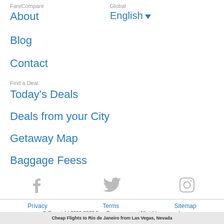FareCompare
Global
About
English ▾
Blog
Contact
Find a Deal
Today's Deals
Deals from your City
Getaway Map
Baggage Feess
[Figure (illustration): Social media icons: Facebook, Twitter, Instagram in gray]
Privacy   Terms   Sitemap
© Copyright 2006-2020 FareCompare.com. All rights reserved.
Cheap Flights to Rio de Janeiro from Las Vegas, Nevada